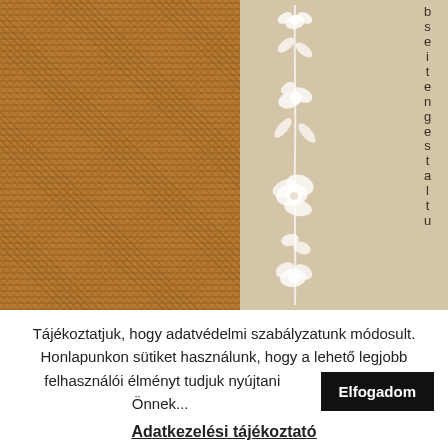[Figure (photo): Left half shows a close-up of brown burlap/jute textile fabric texture. Right half shows a beige/cream background with a white floral decorative vine pattern in the center. Vertical text characters run down the right side.]
Tájékoztatjuk, hogy adatvédelmi szabályzatunk módosult. Honlapunkon sütiket használunk, hogy a lehető legjobb felhasználói élményt tudjuk nyújtani Önnek...
Elfogadom
Adatkezelési tájékoztató